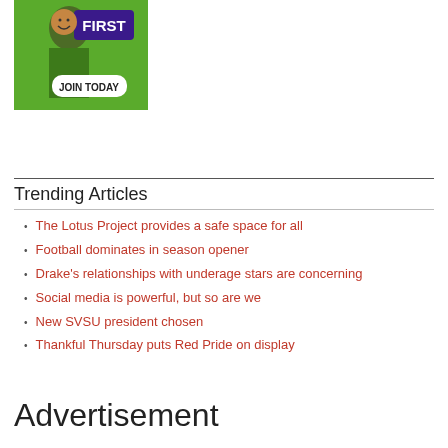[Figure (photo): Advertisement image showing a person in a green shirt with 'FIRST' text and a 'JOIN TODAY' button]
Trending Articles
The Lotus Project provides a safe space for all
Football dominates in season opener
Drake's relationships with underage stars are concerning
Social media is powerful, but so are we
New SVSU president chosen
Thankful Thursday puts Red Pride on display
Advertisement